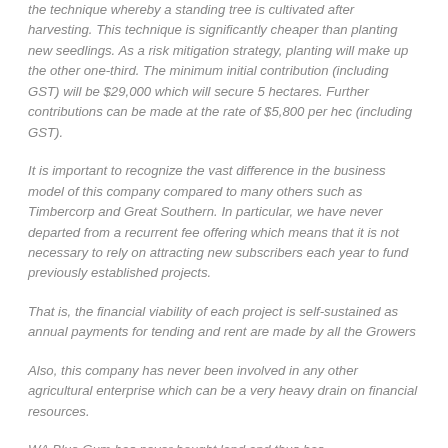the technique whereby a standing tree is cultivated after harvesting. This technique is significantly cheaper than planting new seedlings. As a risk mitigation strategy, planting will make up the other one-third. The minimum initial contribution (including GST) will be $29,000 which will secure 5 hectares. Further contributions can be made at the rate of $5,800 per hec (including GST).
It is important to recognize the vast difference in the business model of this company compared to many others such as Timbercorp and Great Southern. In particular, we have never departed from a recurrent fee offering which means that it is not necessary to rely on attracting new subscribers each year to fund previously established projects.
That is, the financial viability of each project is self-sustained as annual payments for tending and rent are made by all the Growers
Also, this company has never been involved in any other agricultural enterprise which can be a very heavy drain on financial resources.
WA Blue Gum has never bought land and thus has